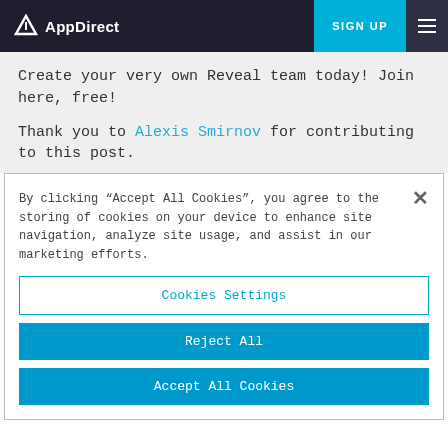AppDirect | SIGN UP
Create your very own Reveal team today! Join here, free!
Thank you to Alexis Smirnov for contributing to this post.
By clicking “Accept All Cookies”, you agree to the storing of cookies on your device to enhance site navigation, analyze site usage, and assist in our marketing efforts.
Cookies Settings
Reject All
Accept All Cookies